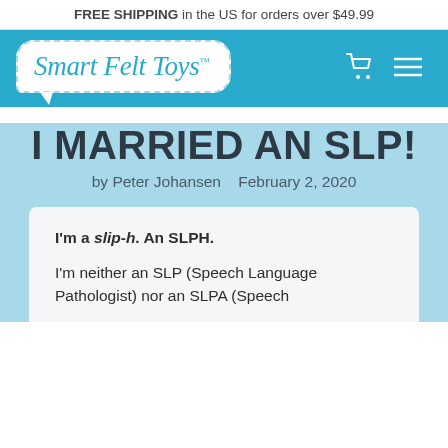FREE SHIPPING in the US for orders over $49.99
[Figure (logo): Smart Felt Toys logo in a speech bubble shape on a teal navigation bar with cart and hamburger menu icons]
I MARRIED AN SLP!
by Peter Johansen   February 2, 2020
I'm a slip-h. An SLPH.

I'm neither an SLP (Speech Language Pathologist) nor an SLPA (Speech Language Pathology Assistant).